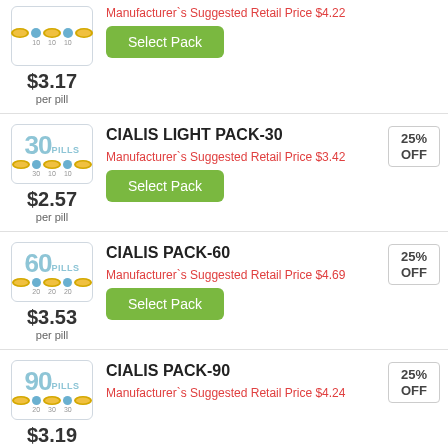[Figure (illustration): Pill pack image for top product (partially visible)]
$3.17 per pill
Manufacturer`s Suggested Retail Price $4.22
Select Pack
[Figure (illustration): 30 pills pack image for Cialis Light Pack-30]
CIALIS LIGHT PACK-30
25% OFF
$2.57 per pill
Manufacturer`s Suggested Retail Price $3.42
Select Pack
[Figure (illustration): 60 pills pack image for Cialis Pack-60]
CIALIS PACK-60
25% OFF
$3.53 per pill
Manufacturer`s Suggested Retail Price $4.69
Select Pack
[Figure (illustration): 90 pills pack image for Cialis Pack-90]
CIALIS PACK-90
25% OFF
$3.19
Manufacturer`s Suggested Retail Price $4.24